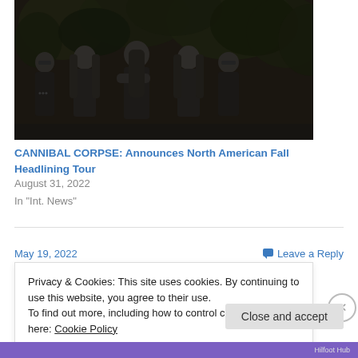[Figure (photo): Five heavy metal band members standing outdoors, all wearing black, with long hair, against a dark leafy background. This is the band Cannibal Corpse.]
CANNIBAL CORPSE: Announces North American Fall Headlining Tour
August 31, 2022
In "Int. News"
May 19, 2022
Leave a Reply
Privacy & Cookies: This site uses cookies. By continuing to use this website, you agree to their use.
To find out more, including how to control cookies, see here: Cookie Policy
Close and accept